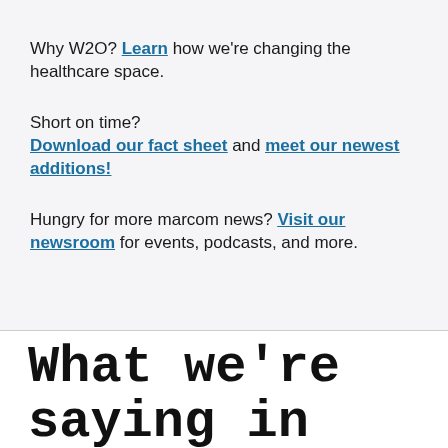Why W2O? Learn how we're changing the healthcare space.
Short on time? Download our fact sheet and meet our newest additions!
Hungry for more marcom news? Visit our newsroom for events, podcasts, and more.
What we're saying in our blog